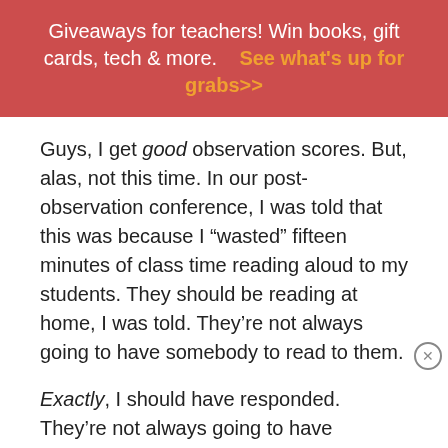Giveaways for teachers! Win books, gift cards, tech & more.    See what's up for grabs>>
Guys, I get good observation scores. But, alas, not this time. In our post-observation conference, I was told that this was because I “wasted” fifteen minutes of class time reading aloud to my students. They should be reading at home, I was told. They’re not always going to have somebody to read to them.
Exactly, I should have responded. They’re not always going to have somebody to read to them. And some of them never have before. Some of these kids have never gotten lost in the world of a novel, never been so absorbed in a story that,